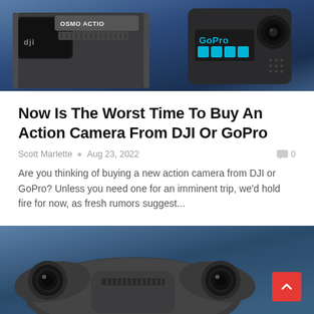[Figure (photo): DJI Osmo Action camera and GoPro action camera side by side against a dark blue gradient background]
Now Is The Worst Time To Buy An Action Camera From DJI Or GoPro
Scott Marlette • Aug 23, 2022
Are you thinking of buying a new action camera from DJI or GoPro? Unless you need one for an imminent trip, we'd hold fire for now, as fresh rumors suggest...
[Figure (photo): Close-up front view of a drone or action camera device against a blue gradient background]